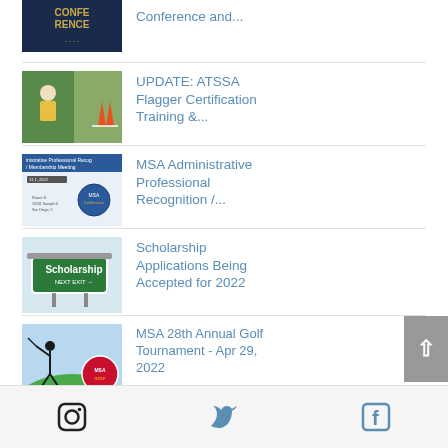Conference and...
UPDATE: ATSSA Flagger Certification Training &...
MSA Administrative Professional Recognition /...
Scholarship Applications Being Accepted for 2022
MSA 28th Annual Golf Tournament - Apr 29, 2022
Instagram | Twitter | Facebook